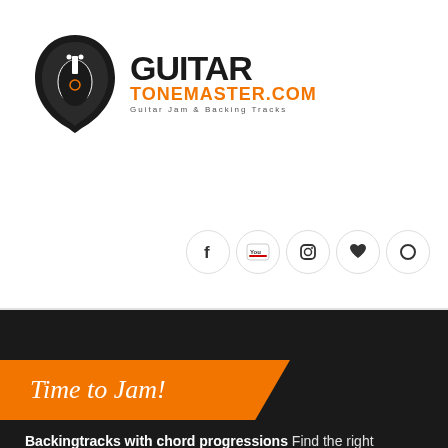[Figure (logo): Guitar Tonemaster.com logo with guitar pick icon, bold GUITAR text, orange TONEMASTER.COM text, and tagline 'Guitar Jam & Backing Tracks']
[Figure (other): Social media icon row: Facebook, YouTube, Instagram, heart/favorites, and a circular O icon]
[Figure (other): Orange angled banner with cursive white text 'Time to Jam!' on dark background section]
Backingtracks with chord progressions Find the right jamtrack you want with our advanced backing track search! Use one of the search filters and choose the desired key, genre, ... and much more. Do you wish to find backing tracks with there chord progression? No problemo
Random Guitar Backing Track